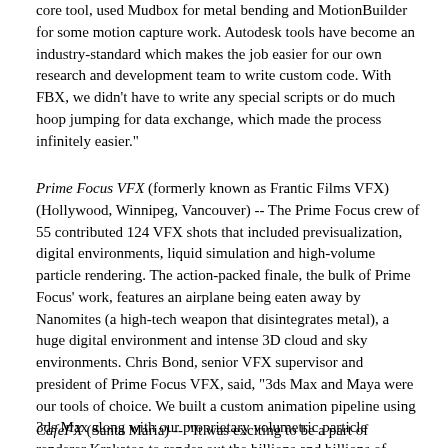core tool, used Mudbox for metal bending and MotionBuilder for some motion capture work. Autodesk tools have become an industry-standard which makes the job easier for our own research and development team to write custom code. With FBX, we didn't have to write any special scripts or do much hoop jumping for data exchange, which made the process infinitely easier."
Prime Focus VFX (formerly known as Frantic Films VFX) (Hollywood, Winnipeg, Vancouver) -- The Prime Focus crew of 55 contributed 124 VFX shots that included previsualization, digital environments, liquid simulation and high-volume particle rendering. The action-packed finale, the bulk of Prime Focus' work, features an airplane being eaten away by Nanomites (a high-tech weapon that disintegrates metal), a huge digital environment and intense 3D cloud and sky environments. Chris Bond, senior VFX supervisor and president of Prime Focus VFX, said, "3ds Max and Maya were our tools of choice. We built a custom animation pipeline using 3ds Max along with our proprietary volumetric particle renderer Krakatoa to render out the billions and billions of particles required to create the Nanomite swarm."
CafeFX (Santa Maria) -- "It was exciting to be a part of